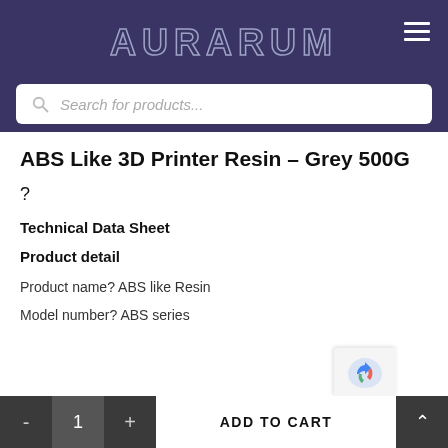AURARUM
Search for products...
ABS Like 3D Printer Resin – Grey 500G
?
Technical Data Sheet
Product detail
Product name? ABS like Resin
Model number? ABS series
- 1 + ADD TO CART